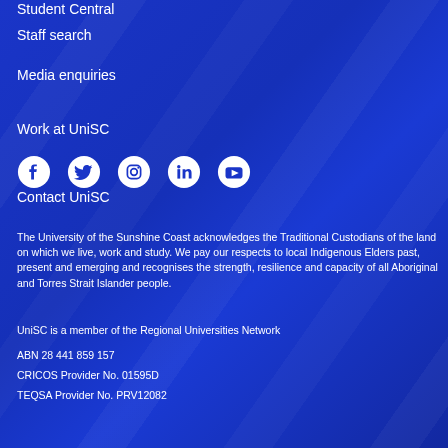Student Central
Staff search
Media enquiries
Work at UniSC
Contact UniSC
[Figure (illustration): Social media icons: Facebook, Twitter, Instagram, LinkedIn, YouTube]
The University of the Sunshine Coast acknowledges the Traditional Custodians of the land on which we live, work and study. We pay our respects to local Indigenous Elders past, present and emerging and recognises the strength, resilience and capacity of all Aboriginal and Torres Strait Islander people.
UniSC is a member of the Regional Universities Network
ABN 28 441 859 157
CRICOS Provider No. 01595D
TEQSA Provider No. PRV12082